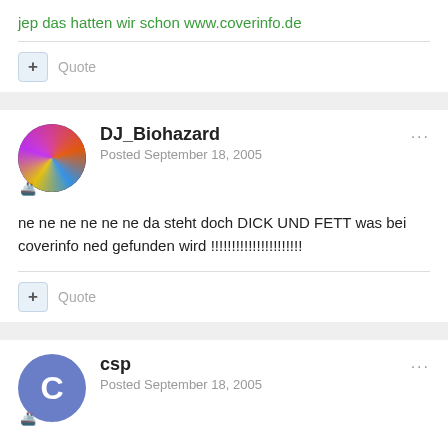jep das hatten wir schon www.coverinfo.de
Quote
DJ_Biohazard
Posted September 18, 2005
ne ne ne ne ne ne da steht doch DICK UND FETT was bei coverinfo ned gefunden wird !!!!!!!!!!!!!!!!!!!!!!
Quote
csp
Posted September 18, 2005